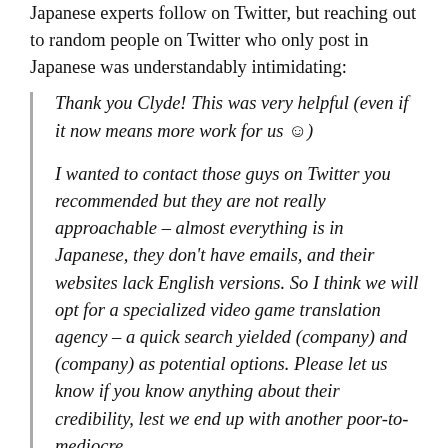Japanese experts follow on Twitter, but reaching out to random people on Twitter who only post in Japanese was understandably intimidating:
Thank you Clyde! This was very helpful (even if it now means more work for us 😊)
I wanted to contact those guys on Twitter you recommended but they are not really approachable – almost everything is in Japanese, they don't have emails, and their websites lack English versions. So I think we will opt for a specialized video game translation agency – a quick search yielded (company) and (company) as potential options. Please let us know if you know anything about their credibility, lest we end up with another poor-to-mediocre